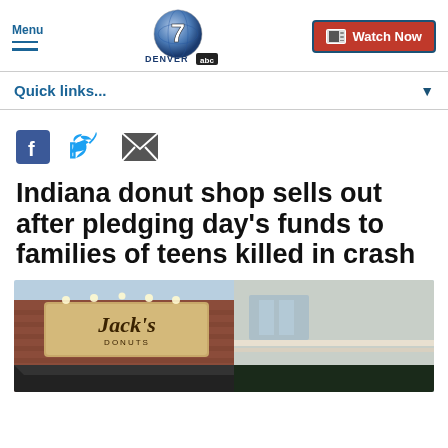Menu | Denver 7 ABC | Watch Now
Quick links...
[Figure (other): Social sharing icons: Facebook, Twitter, Email]
Indiana donut shop sells out after pledging day's funds to families of teens killed in crash
[Figure (photo): Photo of Jack's Donuts shop sign on a brick building exterior with globe lights and dark awning]